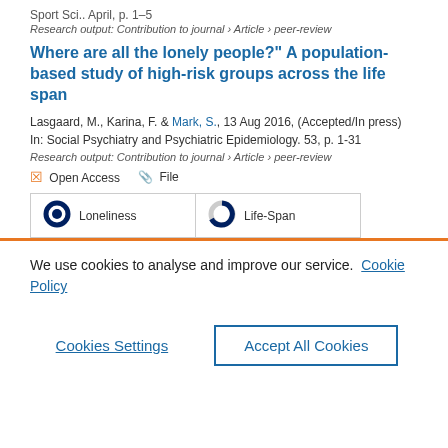Sport Sci.. April, p. 1-5
Research output: Contribution to journal › Article › peer-review
Where are all the lonely people?" A population-based study of high-risk groups across the life span
Lasgaard, M., Karina, F. & Mark, S., 13 Aug 2016, (Accepted/In press) In: Social Psychiatry and Psychiatric Epidemiology. 53, p. 1-31
Research output: Contribution to journal › Article › peer-review
Open Access   File
Loneliness   Life-Span
We use cookies to analyse and improve our service. Cookie Policy
Cookies Settings   Accept All Cookies